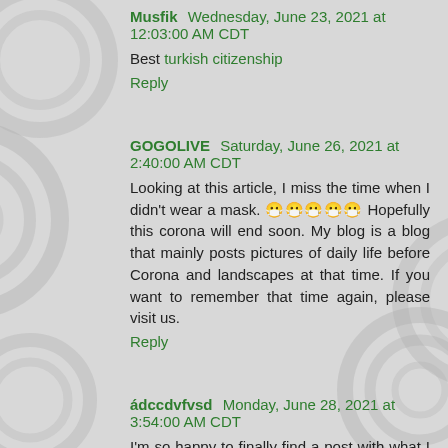Musfik  Wednesday, June 23, 2021 at 12:03:00 AM CDT
Best turkish citizenship
Reply
GOGOLIVE  Saturday, June 26, 2021 at 2:40:00 AM CDT
Looking at this article, I miss the time when I didn't wear a mask. 😷😷😷😷😷 Hopefully this corona will end soon. My blog is a blog that mainly posts pictures of daily life before Corona and landscapes at that time. If you want to remember that time again, please visit us.
Reply
ádccdvfvsd  Monday, June 28, 2021 at 3:54:00 AM CDT
I'm so happy to finally find a post with what I want. 😊😊😊😊😊😊😊 You have inspired me a lot. If you are satisfied, please visit my website and leave your feedback.
Reply